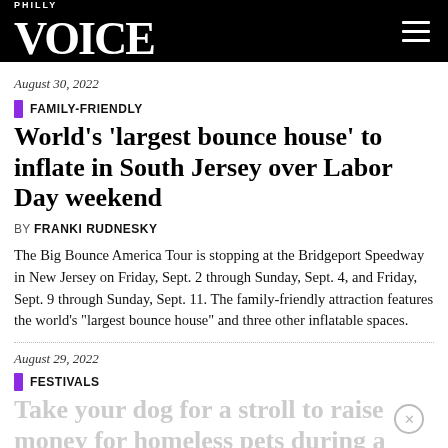PHILLY VOICE
August 30, 2022
FAMILY-FRIENDLY
World's 'largest bounce house' to inflate in South Jersey over Labor Day weekend
BY FRANKI RUDNESKY
The Big Bounce America Tour is stopping at the Bridgeport Speedway in New Jersey on Friday, Sept. 2 through Sunday, Sept. 4, and Friday, Sept. 9 through Sunday, Sept. 11. The family-friendly attraction features the world's "largest bounce house" and three other inflatable spaces.
August 29, 2022
FESTIVALS
Take your dog for a stroll to raise money for homeless pets during a